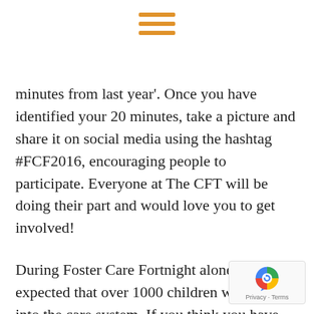[Figure (other): Orange hamburger menu icon (three horizontal lines stacked)]
minutes from last year'. Once you have identified your 20 minutes, take a picture and share it on social media using the hashtag #FCF2016, encouraging people to participate. Everyone at The CFT will be doing their part and would love you to get involved!
During Foster Care Fortnight alone it is expected that over 1000 children will come into the care system. If you think you have what it takes to Foster and would like to find out more, please click here to make an initial enquiry.
Alternatively, why not come along and show